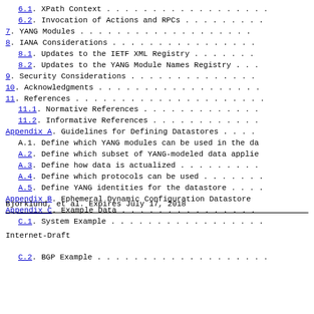6.1.  XPath Context . . . . . . . . . . . . . . . .
6.2.  Invocation of Actions and RPCs . . . . . . .
7.  YANG Modules . . . . . . . . . . . . . . . . . .
8.  IANA Considerations . . . . . . . . . . . . . .
8.1.  Updates to the IETF XML Registry . . . . . .
8.2.  Updates to the YANG Module Names Registry . .
9.  Security Considerations . . . . . . . . . . . .
10.  Acknowledgments . . . . . . . . . . . . . . . .
11.  References . . . . . . . . . . . . . . . . . .
11.1.  Normative References . . . . . . . . . . . .
11.2.  Informative References . . . . . . . . . . .
Appendix A.  Guidelines for Defining Datastores . .
A.1.  Define which YANG modules can be used in the da
A.2.  Define which subset of YANG-modeled data applie
A.3.  Define how data is actualized . . . . . . . .
A.4.  Define which protocols can be used . . . . . .
A.5.  Define YANG identities for the datastore . . .
Appendix B.  Ephemeral Dynamic Configuration Datastore
Appendix C.  Example Data . . . . . . . . . . . . .
C.1.  System Example . . . . . . . . . . . . . . .
Bjorklund, et al.          Expires July 17, 2018
Internet-Draft
C.2.  BGP Example . . . . . . . . . . . . . . . . .